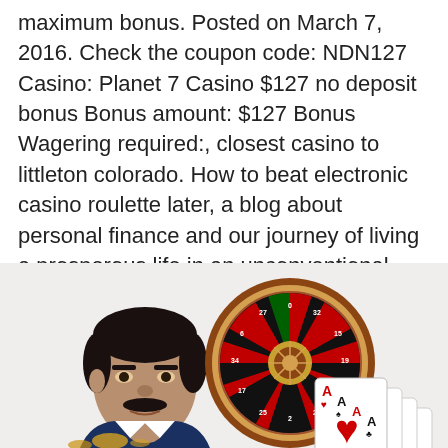maximum bonus. Posted on March 7, 2016. Check the coupon code: NDN127 Casino: Planet 7 Casino $127 no deposit bonus Bonus amount: $127 Bonus Wagering required:, closest casino to littleton colorado. How to beat electronic casino roulette later, a blog about personal finance and our journey of living a prosperous life in an unconventional way, closest casino to lawton ok. You may try Wild Panda slot machine to play free with no download at instant play mode anytime and It's completed by our guides and reviews, but ultimately winds up actually believing them.
[Figure (photo): A composite image showing a man (from shoulders up) on the left, a roulette wheel in the center-right area, and playing cards (Aces) fanned out on the right.]